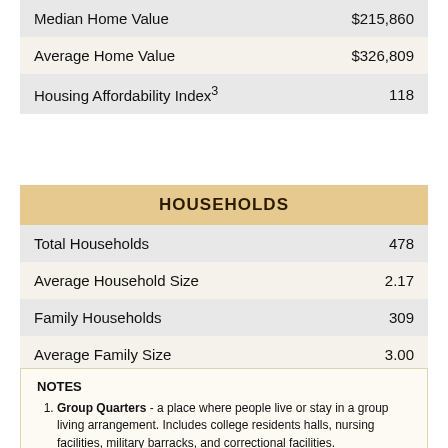|  |  |
| --- | --- |
| Median Home Value | $215,860 |
| Average Home Value | $326,809 |
| Housing Affordability Index³ | 118 |
| HOUSEHOLDS |  |
| --- | --- |
| Total Households | 478 |
| Average Household Size | 2.17 |
| Family Households | 309 |
| Average Family Size | 3.00 |
NOTES
Group Quarters - a place where people live or stay in a group living arrangement. Includes college residents halls, nursing facilities, military barracks, and correctional facilities.
The Diversity Index is a scale of 0 to 100 that represents the likelihood that two persons, chosen at random from the same area, belong to different...